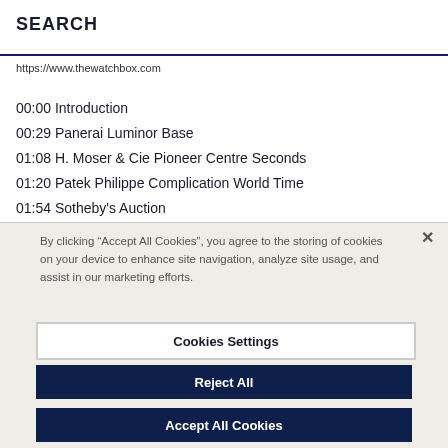SEARCH
https://www.thewatchbox.com
00:00 Introduction
00:29 Panerai Luminor Base
01:08 H. Moser & Cie Pioneer Centre Seconds
01:20 Patek Philippe Complication World Time
01:54 Sotheby's Auction
03:57 Rare Vacheron Constantin
By clicking “Accept All Cookies”, you agree to the storing of cookies on your device to enhance site navigation, analyze site usage, and assist in our marketing efforts.
Cookies Settings
Reject All
Accept All Cookies